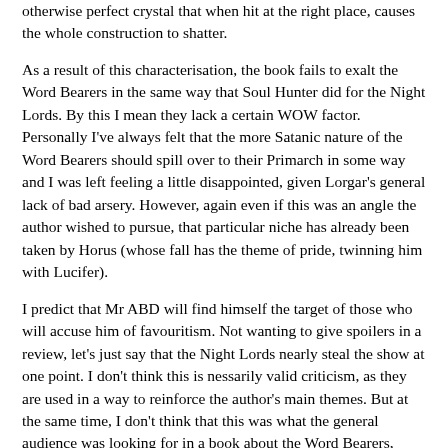otherwise perfect crystal that when hit at the right place, causes the whole construction to shatter.
As a result of this characterisation, the book fails to exalt the Word Bearers in the same way that Soul Hunter did for the Night Lords. By this I mean they lack a certain WOW factor. Personally I've always felt that the more Satanic nature of the Word Bearers should spill over to their Primarch in some way and I was left feeling a little disappointed, given Lorgar's general lack of bad arsery. However, again even if this was an angle the author wished to pursue, that particular niche has already been taken by Horus (whose fall has the theme of pride, twinning him with Lucifer).
I predict that Mr ABD will find himself the target of those who will accuse him of favouritism. Not wanting to give spoilers in a review, let's just say that the Night Lords nearly steal the show at one point. I don't think this is nessarily valid criticism, as they are used in a way to reinforce the author's main themes. But at the same time, I don't think that this was what the general audience was looking for in a book about the Word Bearers, possibly as it violates a major staple of 40K fiction: take the group that will be the protagonists and make them AWESOME (as done by good effect in Soul Hunter, Titanicus and Brothers of the Snake). Again, it's worth noting that this approach would have jarred unpleasantly with the fact that in this book, the protagonists ruin a shining beacon of light for humanity to satisfy their own sinister beginning...